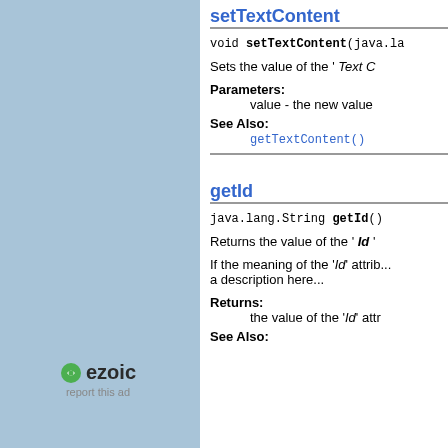setTextContent
void setTextContent(java.la...
Sets the value of the ' Text C...
Parameters:
  value - the new value...
See Also:
  getTextContent()
getId
java.lang.String getId()
Returns the value of the ' Id '...
If the meaning of the 'Id' attrib... a description here...
Returns:
  the value of the 'Id' attr...
See Also:
[Figure (logo): Ezoic logo with green icon and bold text 'ezoic', with 'report this ad' text below]